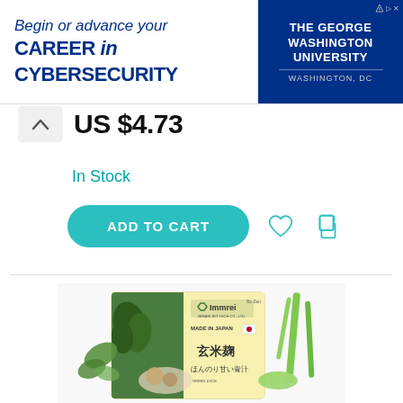[Figure (infographic): Advertisement banner for The George Washington University cybersecurity program. Left side shows text: 'Begin or advance your CAREER in CYBERSECURITY'. Right side shows blue box with 'THE GEORGE WASHINGTON UNIVERSITY WASHINGTON, DC' logo.]
US $4.73
In Stock
[Figure (screenshot): E-commerce page UI with 'ADD TO CART' teal button, heart/wishlist icon, and copy icon.]
[Figure (photo): Product photo showing Immrei brand green juice box (玄米麹 ほんのり甘い青汁) made in Japan with Japanese flag icon, displayed on white background with green vegetables.]